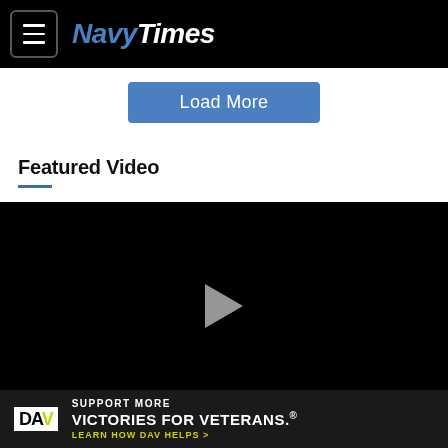NavyTimes
Load More
Featured Video
[Figure (other): Video player with black background and a gray play button triangle in the center]
[Figure (other): DAV advertisement banner: SUPPORT MORE VICTORIES FOR VETERANS. LEARN HOW DAV HELPS >]